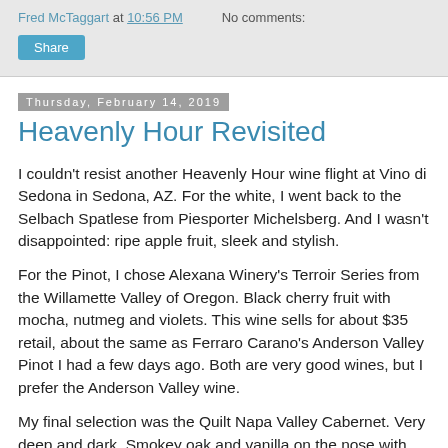Fred McTaggart at 10:56 PM   No comments:
Share
Thursday, February 14, 2019
Heavenly Hour Revisited
I couldn't resist another Heavenly Hour wine flight at Vino di Sedona in Sedona, AZ. For the white, I went back to the Selbach Spatlese from Piesporter Michelsberg. And I wasn't disappointed: ripe apple fruit, sleek and stylish.
For the Pinot, I chose Alexana Winery's Terroir Series from the Willamette Valley of Oregon. Black cherry fruit with mocha, nutmeg and violets. This wine sells for about $35 retail, about the same as Ferraro Carano's Anderson Valley Pinot I had a few days ago. Both are very good wines, but I prefer the Anderson Valley wine.
My final selection was the Quilt Napa Valley Cabernet. Very deep and dark. Smokey oak and vanilla on the nose with rich black fruit on the mid-palate, but very particular on the finish. A